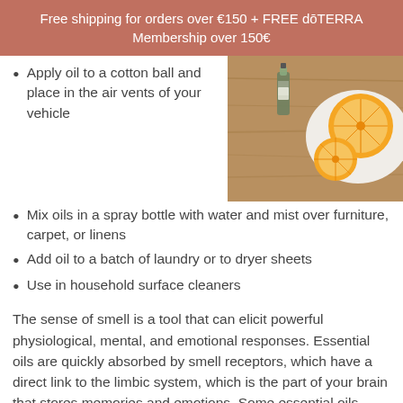Free shipping for orders over €150 + FREE dōTERRA Membership over 150€
Apply oil to a cotton ball and place in the air vents of your vehicle
[Figure (photo): A photo showing essential oil bottles on a wooden board with orange slices on a white plate]
Mix oils in a spray bottle with water and mist over furniture, carpet, or linens
Add oil to a batch of laundry or to dryer sheets
Use in household surface cleaners
The sense of smell is a tool that can elicit powerful physiological, mental, and emotional responses. Essential oils are quickly absorbed by smell receptors, which have a direct link to the limbic system, which is the part of your brain that stores memories and emotions. Some essential oils induce